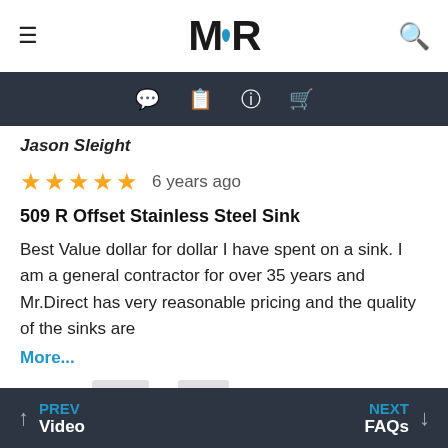MR (logo)
Jason Sleight
★★★★★ 6 years ago
509 R Offset Stainless Steel Sink
Best Value dollar for dollar I have spent on a sink. I am a general contractor for over 35 years and Mr.Direct has very reasonable pricing and the quality of the sinks are
More...
Helpful? Yes 0  No 0
PREV Video   NEXT FAQs